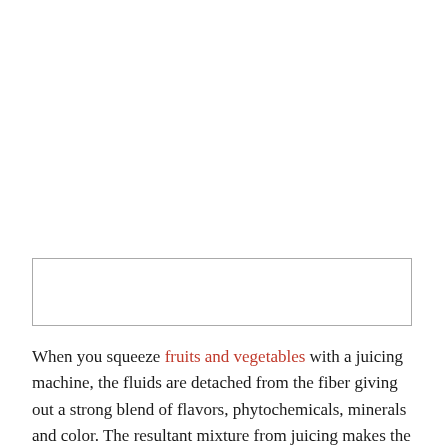[Figure (other): Empty rectangular box with light gray border, likely a placeholder for an image]
When you squeeze fruits and vegetables with a juicing machine, the fluids are detached from the fiber giving out a strong blend of flavors, phytochemicals, minerals and color. The resultant mixture from juicing makes the nutrients and the protective compounds of fruits and